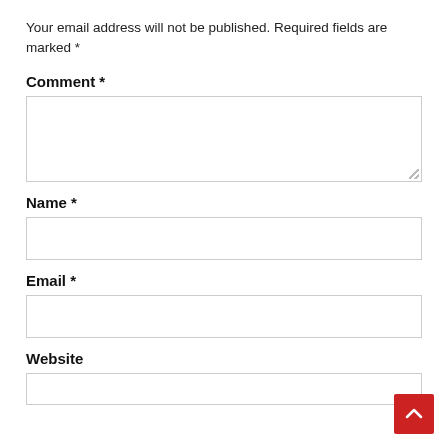Your email address will not be published. Required fields are marked *
Comment *
[Figure (other): Comment text area input box with resize handle]
Name *
[Figure (other): Name single-line text input box]
Email *
[Figure (other): Email single-line text input box]
Website
[Figure (other): Website single-line text input box (partially visible)]
[Figure (other): Red scroll-to-top button with upward chevron arrow]